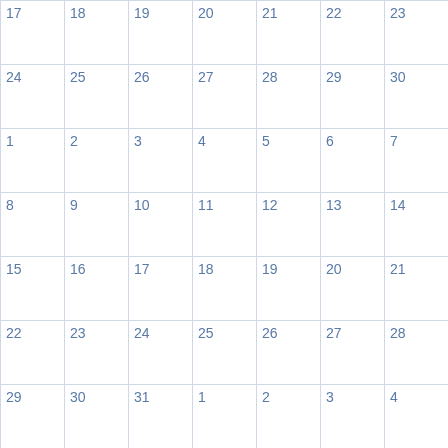| 17 | 18 | 19 | 20 | 21 | 22 | 23 |
| 24 | 25 | 26 | 27 | 28 | 29 | 30 |
| 1 | 2 | 3 | 4 | 5 | 6 | 7 |
| 8 | 9 | 10 | 11 | 12 | 13 | 14 |
| 15 | 16 | 17 | 18 | 19 | 20 | 21 |
| 22 | 23 | 24 | 25 | 26 | 27 | 28 |
| 29 | 30 | 31 | 1 | 2 | 3 | 4 |